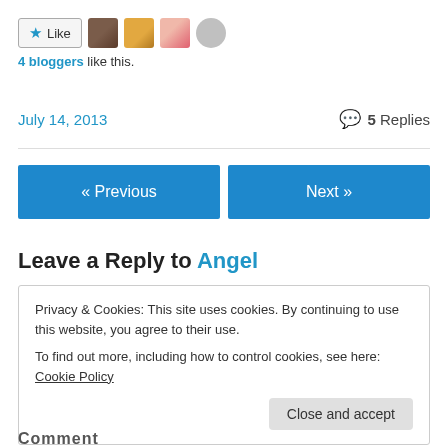[Figure (other): Like button with star icon and 4 blogger avatar thumbnails]
4 bloggers like this.
July 14, 2013   5 Replies
« Previous
Next »
Leave a Reply to Angel
Privacy & Cookies: This site uses cookies. By continuing to use this website, you agree to their use.
To find out more, including how to control cookies, see here: Cookie Policy
Close and accept
Comment